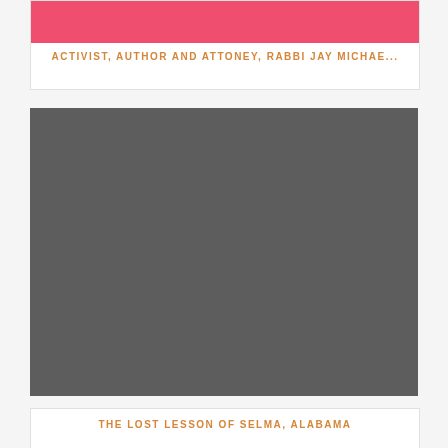[Figure (photo): Card with pink/coral image placeholder at top]
ACTIVIST, AUTHOR AND ATTONEY, RABBI JAY MICHAE...
[Figure (photo): Large dark gray image placeholder]
THE LOST LESSON OF SELMA, ALABAMA